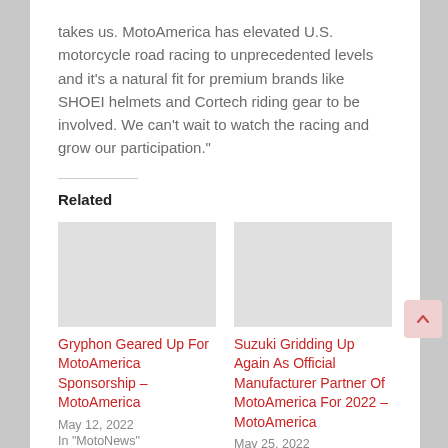takes us. MotoAmerica has elevated U.S. motorcycle road racing to unprecedented levels and it's a natural fit for premium brands like SHOEI helmets and Cortech riding gear to be involved. We can't wait to watch the racing and grow our participation."
Related
Gryphon Geared Up For MotoAmerica Sponsorship – MotoAmerica
May 12, 2022
In "MotoNews"
Suzuki Gridding Up Again As Official Manufacturer Partner Of MotoAmerica For 2022 – MotoAmerica
May 25, 2022
In "MotoNews"